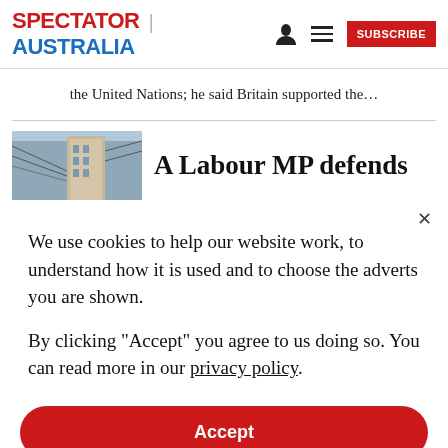SPECTATOR | AUSTRALIA
the United Nations; he said Britain supported the…
[Figure (photo): Thumbnail image of a building with sky background used as article preview image]
A Labour MP defends
We use cookies to help our website work, to understand how it is used and to choose the adverts you are shown.
By clicking "Accept" you agree to us doing so. You can read more in our privacy policy.
Accept